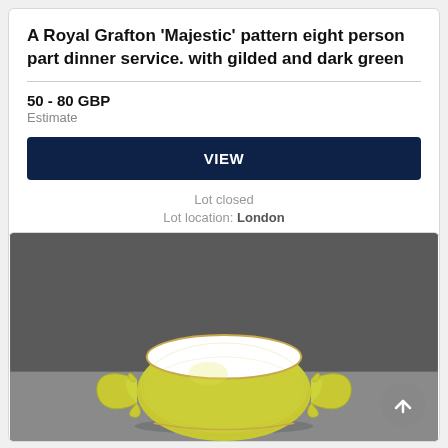A Royal Grafton 'Majestic' pattern eight person part dinner service. with gilded and dark green
50 - 80 GBP
Estimate
VIEW
Lot closed
Lot location: London
[Figure (photo): A yellow/green footed ceramic sugar bowl or soup cup with two ornate handles, white interior with gold rim, photographed against a dark grey background on a grey surface.]